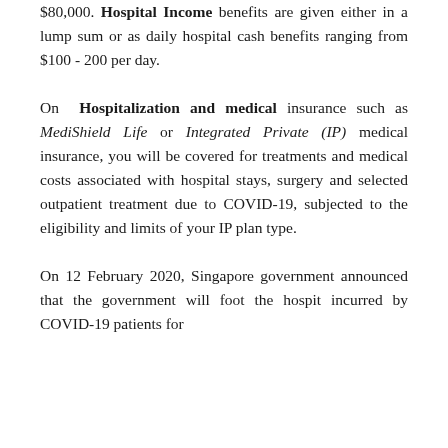$80,000. Hospital Income benefits are given either in a lump sum or as daily hospital cash benefits ranging from $100 - 200 per day.
On Hospitalization and medical insurance such as MediShield Life or Integrated Private (IP) medical insurance, you will be covered for treatments and medical costs associated with hospital stays, surgery and selected outpatient treatment due to COVID-19, subjected to the eligibility and limits of your IP plan type.
On 12 February 2020, Singapore government announced that the government will foot the hospital incurred by COVID-19 patients for